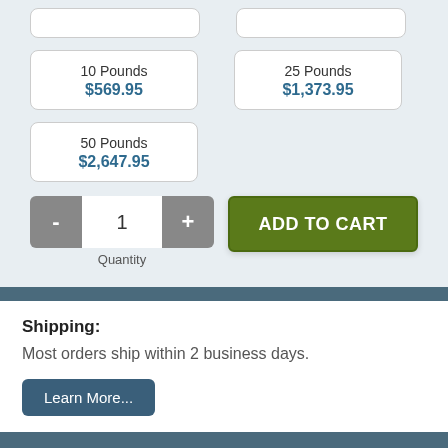10 Pounds $569.95
25 Pounds $1,373.95
50 Pounds $2,647.95
- 1 + Quantity
ADD TO CART
Shipping:
Most orders ship within 2 business days.
Learn More...